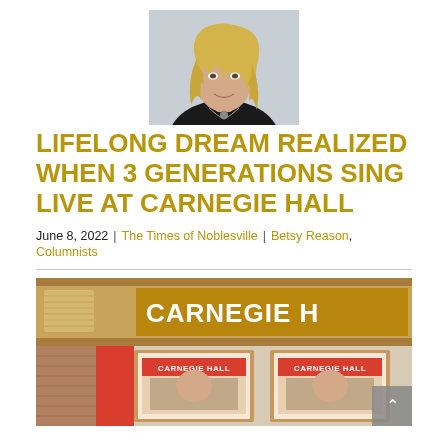[Figure (photo): Headshot of a blonde woman wearing a black top and necklace, on a light gray background]
LIFELONG DREAM REALIZED WHEN 3 GENERATIONS SING LIVE AT CARNEGIE HALL
June 8, 2022  |  The Times of Noblesville  |  Betsy Reason, Columnists
[Figure (photo): Exterior photo of Carnegie Hall showing the ornate wooden marquee with 'CARNEGIE H' text visible and two red Carnegie Hall program posters in display cases below]